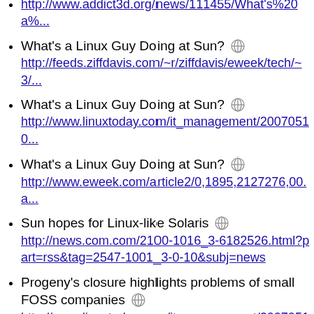http://www.addict3d.org/news/111455/What's%20a%...
What's a Linux Guy Doing at Sun?
http://feeds.ziffdavis.com/~r/ziffdavis/eweek/tech/~3/...
What's a Linux Guy Doing at Sun?
http://www.linuxtoday.com/it_management/20070510...
What's a Linux Guy Doing at Sun?
http://www.eweek.com/article2/0,1895,2127276,00.a...
Sun hopes for Linux-like Solaris
http://news.com.com/2100-1016_3-6182526.html?part=rss&tag=2547-1001_3-0-10&subj=news
Progeny's closure highlights problems of small FOSS companies
http://www.linuxtoday.com/it_management/20070511...
Solaris será mais parecido com Linux
http://br.noticias.yahoo.com/s/070513/7/1jas5.html
Solaris can never be Linux
http://www.itwire.com.au/content/view/12116/1090/
Sun hopes Project Indiana will help 2OpenSolaris...